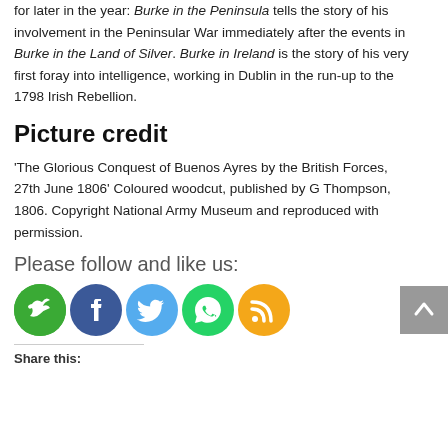There are two new books about James Burke planned for later in the year: Burke in the Peninsula tells the story of his involvement in the Peninsular War immediately after the events in Burke in the Land of Silver. Burke in Ireland is the story of his very first foray into intelligence, working in Dublin in the run-up to the 1798 Irish Rebellion.
Picture credit
'The Glorious Conquest of Buenos Ayres by the British Forces, 27th June 1806' Coloured woodcut, published by G Thompson, 1806. Copyright National Army Museum and reproduced with permission.
Please follow and like us:
[Figure (infographic): Row of five social media icon buttons: Follow (green), Facebook (blue), Twitter (light blue), WhatsApp (green), RSS (orange)]
Share this: